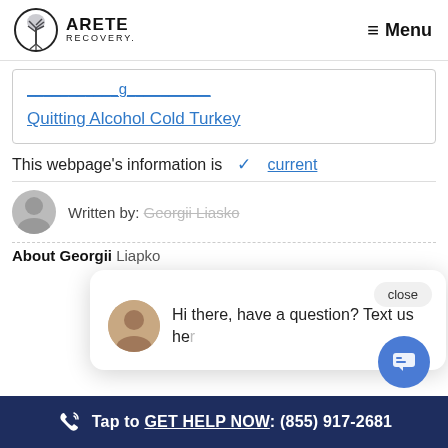ARETE RECOVERY  ≡ Menu
Quitting Alcohol Cold Turkey
This webpage's information is ✓ current
Written by: Georgii Liasko
About Georgii Liapko
Hi there, have a question? Text us here
Tap to GET HELP NOW: (855) 917-2681